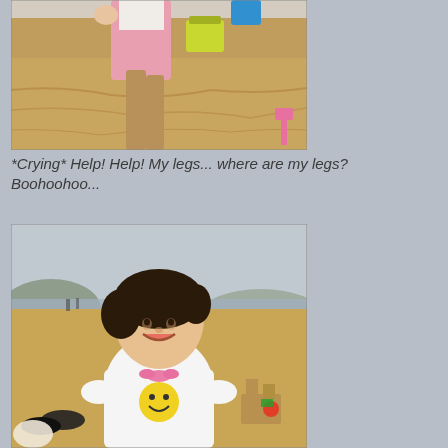[Figure (photo): Child at beach playing in the sand, legs buried in sand, holding a yellow-green bucket, wearing pink pants and white top]
*Crying* Help! Help! My legs... where are my legs? Boohoohoo...
[Figure (photo): Young girl smiling at beach, wearing white t-shirt with smiley face graphic, standing in front of sand castle, mountains and sea in background]